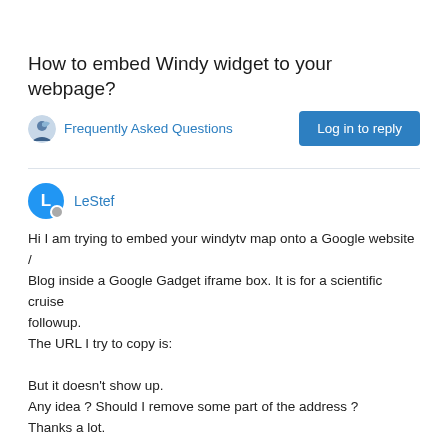How to embed Windy widget to your webpage?
Frequently Asked Questions
Log in to reply
LeStef
Hi I am trying to embed your windytv map onto a Google website / Blog inside a Google Gadget iframe box. It is for a scientific cruise followup.
The URL I try to copy is:

But it doesn't show up.
Any idea ? Should I remove some part of the address ?
Thanks a lot.
1 Reply > 0